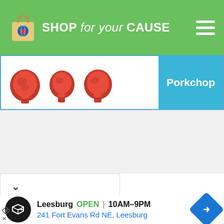SHOP for your CAUSE
[Figure (illustration): Three red pork chop illustrations side by side in a product card with a blue teal label reading 'Porkchop']
Porkchop
Leesburg   OPEN | 10AM–9PM
241 Fort Evans Rd NE, Leesburg